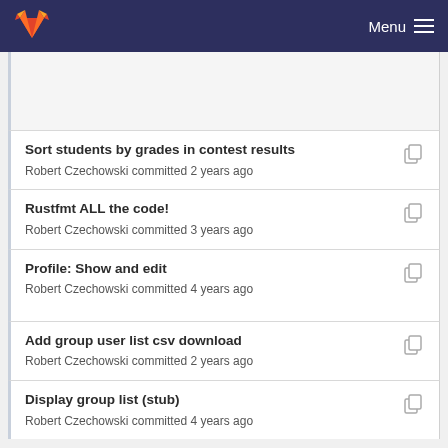Menu
Sort students by grades in contest results
Robert Czechowski committed 2 years ago
Rustfmt ALL the code!
Robert Czechowski committed 3 years ago
Profile: Show and edit
Robert Czechowski committed 4 years ago
Add group user list csv download
Robert Czechowski committed 2 years ago
Display group list (stub)
Robert Czechowski committed 4 years ago